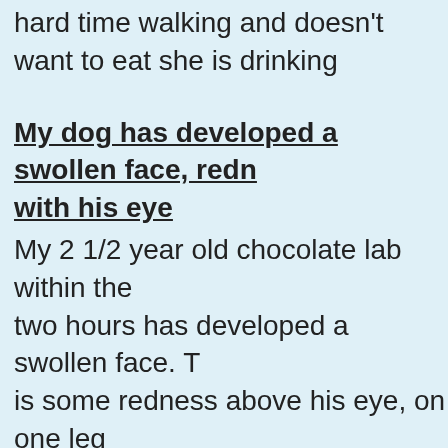hard time walking and doesn't want to eat she is drinking
My dog has developed a swollen face, redness with his eye
My 2 1/2 year old chocolate lab within the two hours has developed a swollen face. There is some redness above his eye, on one leg and on one si My 2 1/2 year old chocolate lab within the last two hours has developed a swollen face. There is some redness above his eye, one leg and on one side of his chest
Why has my dog vomited?
Hi my dog is about 60 days pregnant; we've been trying to not over feed her. Just today vomit. What should we do? My dog is a sh